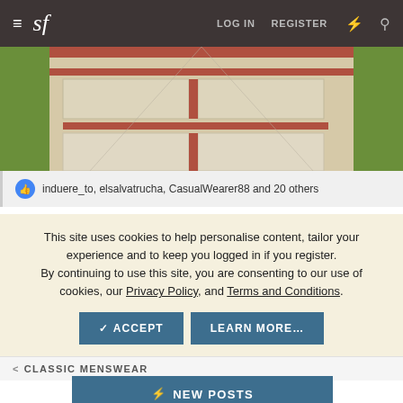≡ sf   LOG IN   REGISTER
[Figure (photo): Aerial view of brick and concrete paving stones pathway with grass on sides]
induere_to, elsalvatrucha, CasualWearer88 and 20 others
This site uses cookies to help personalise content, tailor your experience and to keep you logged in if you register.
By continuing to use this site, you are consenting to our use of cookies, our Privacy Policy, and Terms and Conditions.
✓ ACCEPT   LEARN MORE...
< CLASSIC MENSWEAR
⚡ NEW POSTS